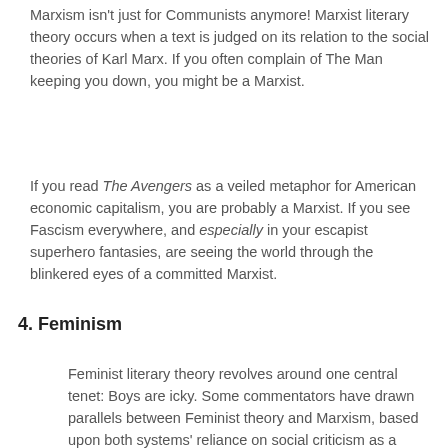Marxism isn't just for Communists anymore! Marxist literary theory occurs when a text is judged on its relation to the social theories of Karl Marx. If you often complain of The Man keeping you down, you might be a Marxist.
If you read The Avengers as a veiled metaphor for American economic capitalism, you are probably a Marxist. If you see Fascism everywhere, and especially in your escapist superhero fantasies, are seeing the world through the blinkered eyes of a committed Marxist.
4. Feminism
Feminist literary theory revolves around one central tenet: Boys are icky. Some commentators have drawn parallels between Feminist theory and Marxism, based upon both systems' reliance on social criticism as a literary context for critical...